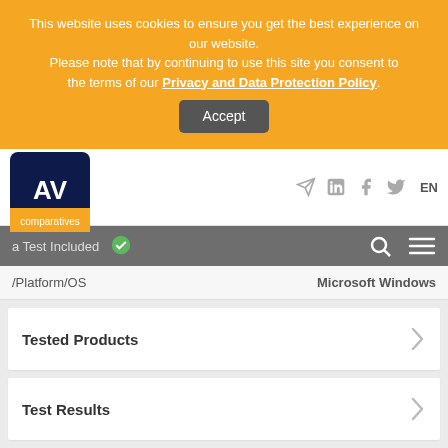This website uses cookies to ensure you get the best experience on our website. Please note that by continuing to use this site you consent to the terms of our Privacy and Data Protection Policy.
Accept
[Figure (logo): AV Comparatives logo - dark blue square with white 'AV' text and orange 'comparatives' label]
a Test Included
/Platform/OS
Microsoft Windows
Tested Products
Test Results
Product Reviews
Awards